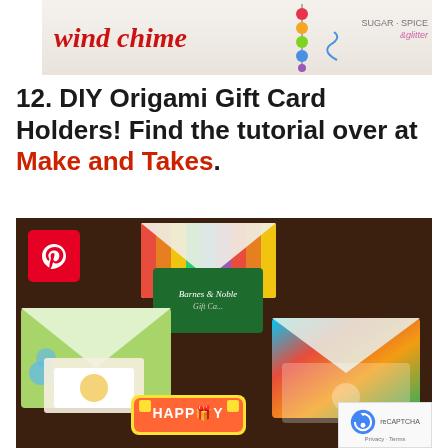[Figure (photo): Partial craft blog banner showing cursive red text 'wind chime' with colorful beads and 'SUGAR + SPICE glitter' branding on right side]
12. DIY Origami Gift Card Holders! Find the tutorial over at Make and Takes.
[Figure (photo): Photo of three DIY origami gift card holders on a dark wooden table. Center holder has rainbow stripes with a Barnes & Noble gift card tucked in. Left holder is green with blue flowers and a bird gift card. Right holder has colorful abstract pattern with an Apple gift card. A Pinterest logo badge overlays the top left. A Happy Birthday sticker is at the bottom center. A reCAPTCHA badge appears in the bottom right corner.]